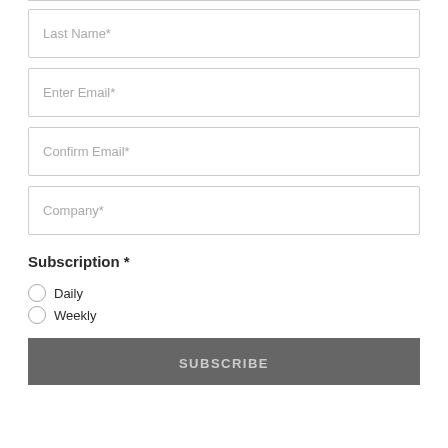Last Name*
Enter Email*
Confirm Email*
Company*
Subscription *
Daily
Weekly
SUBSCRIBE